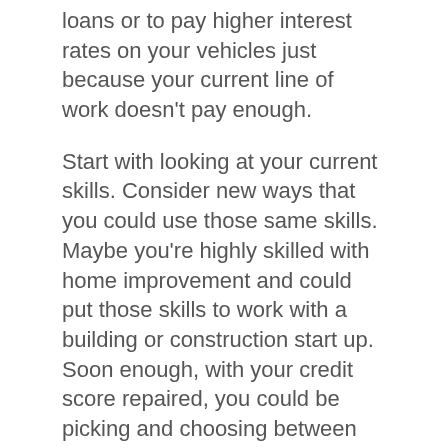loans or to pay higher interest rates on your vehicles just because your current line of work doesn't pay enough.
Start with looking at your current skills. Consider new ways that you could use those same skills. Maybe you're highly skilled with home improvement and could put those skills to work with a building or construction start up. Soon enough, with your credit score repaired, you could be picking and choosing between the type of loan you want for your next home repair instead of being turned down for yet another line of credit.
Do you spend time obsessing about other careers?